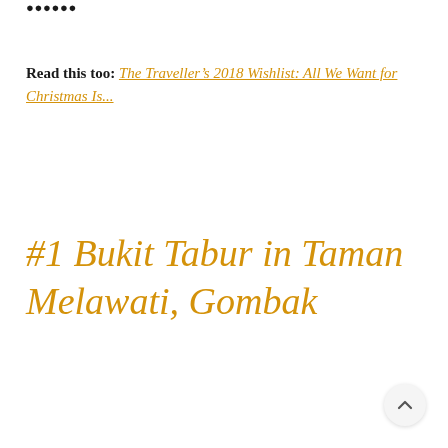......
Read this too: The Traveller's 2018 Wishlist: All We Want for Christmas Is...
#1 Bukit Tabur in Taman Melawati, Gombak